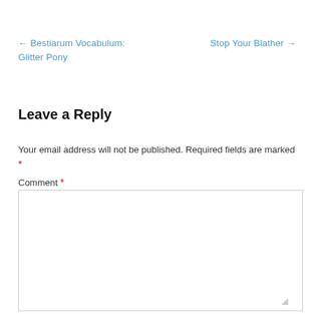← Bestiarum Vocabulum: Glitter Pony
Stop Your Blather →
Leave a Reply
Your email address will not be published. Required fields are marked *
Comment *